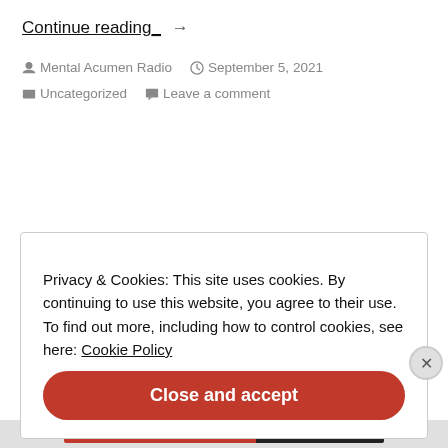Continue reading →
Mental Acumen Radio  September 5, 2021  Uncategorized  Leave a comment
Privacy & Cookies: This site uses cookies. By continuing to use this website, you agree to their use.
To find out more, including how to control cookies, see here: Cookie Policy
Close and accept